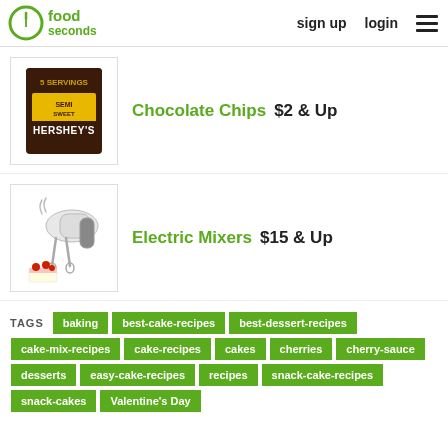30 seconds food — sign up  login
Chocolate Chips  $2 & Up
[Figure (photo): Hershey's Semi Sweet Chocolate Chips bag]
Electric Mixers  $15 & Up
[Figure (photo): White electric hand mixer with attachments and cake decoration]
TAGS  baking  best-cake-recipes  best-dessert-recipes  cake-mix-recipes  cake-recipes  cakes  cherries  cherry-sauce  desserts  easy-cake-recipes  recipes  snack-cake-recipes  snack-cakes  Valentine's Day